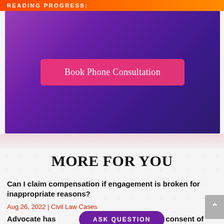READING PROGRESS:
[Figure (other): Purple/indigo gradient banner with a pink 'Book Phone Consultation' button in the center]
MORE FOR YOU
Can I claim compensation if engagement is broken for inappropriate reasons?
Aug 26, 2022 | Civil Law Cases
Advocate has petition without consent of petitioner
[Figure (other): Purple 'ASK QUESTION' pill button overlay]